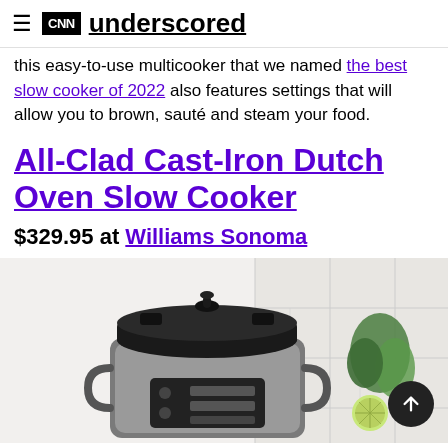CNN underscored
this easy-to-use multicooker that we named the best slow cooker of 2022 also features settings that will allow you to brown, sauté and steam your food.
All-Clad Cast-Iron Dutch Oven Slow Cooker
$329.95 at Williams Sonoma
[Figure (photo): Photo of the All-Clad Cast-Iron Dutch Oven Slow Cooker, a black cast-iron dutch oven sitting on top of a silver multicooker base, with green herbs visible in the background on a white tile surface.]